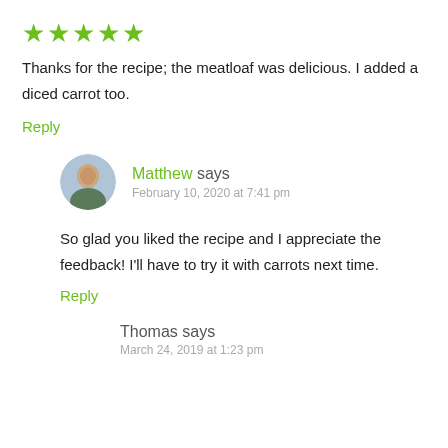[Figure (other): Five green star rating icons]
Thanks for the recipe; the meatloaf was delicious. I added a diced carrot too.
Reply
[Figure (photo): Circular avatar photo of Matthew, a smiling bald man]
Matthew says
February 10, 2020 at 7:41 pm
So glad you liked the recipe and I appreciate the feedback! I'll have to try it with carrots next time.
Reply
Thomas says
March 24, 2019 at 1:23 pm